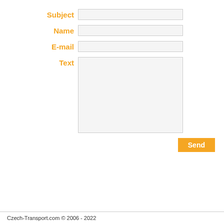Subject
Name
E-mail
Text
Send
Czech-Transport.com © 2006 - 2022